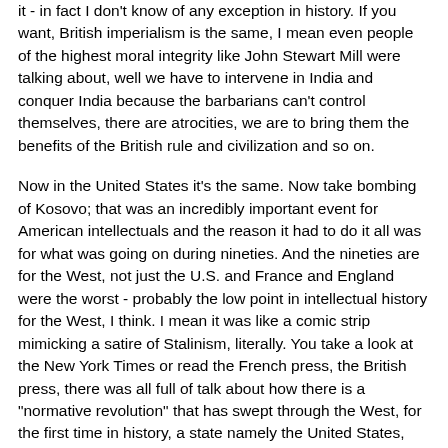it - in fact I don't know of any exception in history. If you want, British imperialism is the same, I mean even people of the highest moral integrity like John Stewart Mill were talking about, well we have to intervene in India and conquer India because the barbarians can't control themselves, there are atrocities, we are to bring them the benefits of the British rule and civilization and so on.
Now in the United States it's the same. Now take bombing of Kosovo; that was an incredibly important event for American intellectuals and the reason it had to do it all was for what was going on during nineties. And the nineties are for the West, not just the U.S. and France and England were the worst - probably the low point in intellectual history for the West, I think. I mean it was like a comic strip mimicking a satire of Stalinism, literally. You take a look at the New York Times or read the French press, the British press, there was all full of talk about how there is a "normative revolution" that has swept through the West, for the first time in history, a state namely the United States, "the leader of the free world" is acting from "pure altruism", ...Clinton's policy has entered into a "noble phase," with a "saintly glow" on and on, I am quoting from the liberals.